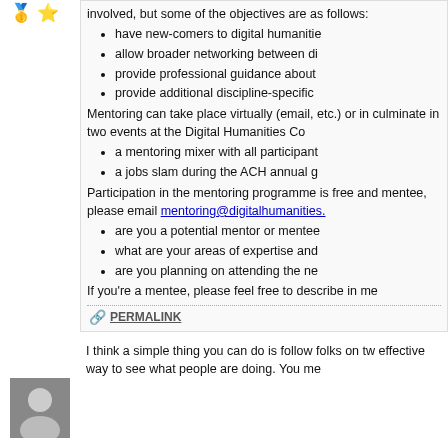[Figure (other): User icons: gold medal and star badge at top left]
have new-comers to digital humanities
allow broader networking between di
provide professional guidance about
provide additional discipline-specific
Mentoring can take place virtually (email, etc.) or in culminate in two events at the Digital Humanities Co
a mentoring mixer with all participant
a jobs slam during the ACH annual g
Participation in the mentoring programme is free and mentee, please email mentoring@digitalhumanities.
are you a potential mentor or mentee
what are your areas of expertise and
are you planning on attending the ne
If you're a mentee, please feel free to describe in me
PERMALINK
[Figure (photo): Small portrait photo of a person at bottom left]
I think a simple thing you can do is follow folks on tw effective way to see what people are doing. You me